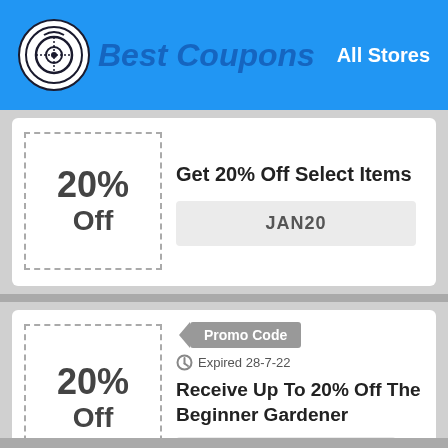Best Coupons — All Stores
20% Off
Get 20% Off Select Items
JAN20
Promo Code
Expired 28-7-22
20% Off
Receive Up To 20% Off The Beginner Gardener
easy20